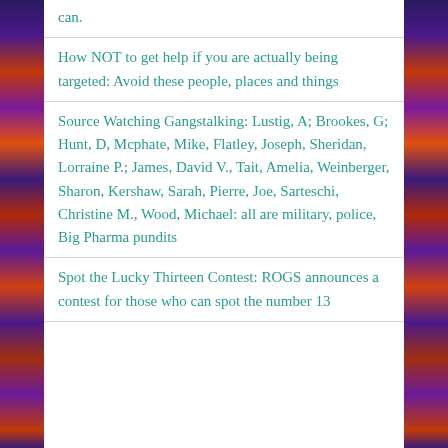can.
How NOT to get help if you are actually being targeted: Avoid these people, places and things
Source Watching Gangstalking: Lustig, A; Brookes, G; Hunt, D, Mcphate, Mike, Flatley, Joseph, Sheridan, Lorraine P.; James, David V., Tait, Amelia, Weinberger, Sharon, Kershaw, Sarah, Pierre, Joe, Sarteschi, Christine M., Wood, Michael: all are military, police, Big Pharma pundits
Spot the Lucky Thirteen Contest: ROGS announces a contest for those who can spot the number 13